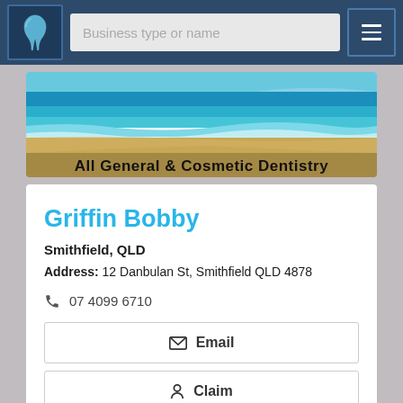Business type or name
[Figure (photo): Beach scene with turquoise ocean water and sandy shore, banner reading 'All General & Cosmetic Dentistry']
Griffin Bobby
Smithfield, QLD
Address: 12 Danbulan St, Smithfield QLD 4878
07 4099 6710
Email
Claim